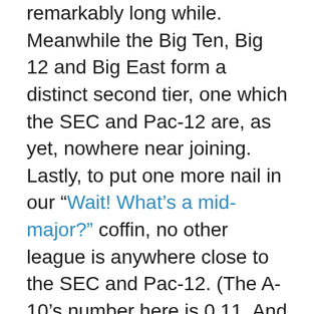remarkably long while. Meanwhile the Big Ten, Big 12 and Big East form a distinct second tier, one which the SEC and Pac-12 are, as yet, nowhere near joining. Lastly, to put one more nail in our “Wait! What’s a mid-major?” coffin, no other league is anywhere close to the SEC and Pac-12. (The A-10’s number here is 0.11. And — even with a 2014 national championship banner hanging in Storrs, Connecticut — we’ll have to wait and see how the post-Louisville American shapes up.)
Granted, there’s more to a successful season than simply earning a glitzy seed. Kentucky came within 40 minutes of a national title as a No. 8 seed. Meanwhile Wichita State watched the Sweet 16 sitting at home as a No. 1 seed.
Still, the vagaries of a single-elimination tournament are, well, vagaries. No conference commissioner can afford to